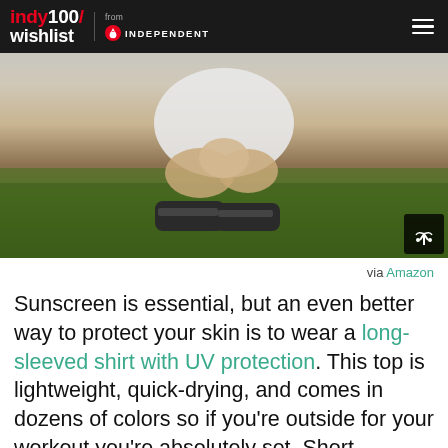indy100/ wishlist from INDEPENDENT
[Figure (photo): Person sitting on grass outdoors wearing dark athletic shoes, viewed from waist down, with green grass background]
via Amazon
Sunscreen is essential, but an even better way to protect your skin is to wear a long-sleeved shirt with UV protection. This top is lightweight, quick-drying, and comes in dozens of colors so if you're outside for your workout you're absolutely set. Short-sleeved shirts are available, too.